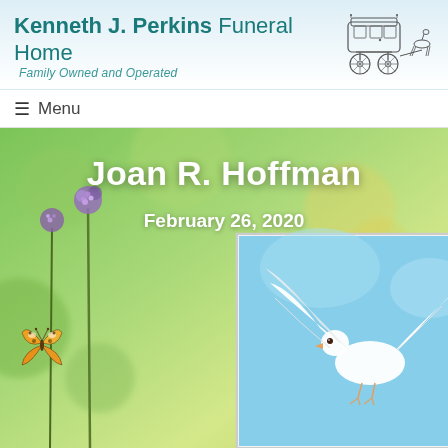Kenneth J. Perkins Funeral Home — Family Owned and Operated
[Figure (illustration): Antique horse-drawn funeral carriage logo in black ink line art style]
☰ Menu
Joan R. Hoffman
February 26, 2020
[Figure (photo): White dove with wings spread open flying against a blue sky background, shown inside a white-bordered portrait frame. Background hero image shows colorful wildflowers (purple verbena, lavender), a painted lady butterfly on the left, and purple flower clusters on the right.]